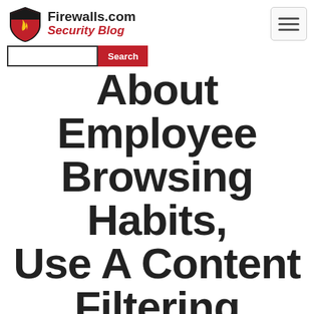Firewalls.com Security Blog
About Employee Browsing Habits, Use A Content Filtering Service
[Figure (illustration): Social media icons row: Facebook, Twitter, LinkedIn, YouTube]
By Andrew Harmon